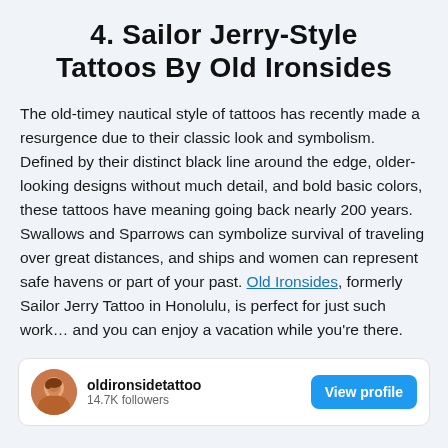4. Sailor Jerry-Style Tattoos by Old Ironsides
The old-timey nautical style of tattoos has recently made a resurgence due to their classic look and symbolism. Defined by their distinct black line around the edge, older-looking designs without much detail, and bold basic colors, these tattoos have meaning going back nearly 200 years. Swallows and Sparrows can symbolize survival of traveling over great distances, and ships and women can represent safe havens or part of your past. Old Ironsides, formerly Sailor Jerry Tattoo in Honolulu, is perfect for just such work… and you can enjoy a vacation while you're there.
[Figure (other): Instagram profile card for oldironsidettattoo with 14.7K followers and a View profile button]